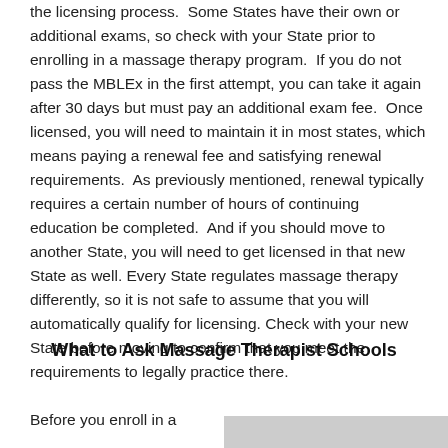the licensing process.  Some States have their own or additional exams, so check with your State prior to enrolling in a massage therapy program.  If you do not pass the MBLEx in the first attempt, you can take it again after 30 days but must pay an additional exam fee.  Once licensed, you will need to maintain it in most states, which means paying a renewal fee and satisfying renewal requirements.  As previously mentioned, renewal typically requires a certain number of hours of continuing education be completed.  And if you should move to another State, you will need to get licensed in that new State as well. Every State regulates massage therapy differently, so it is not safe to assume that you will automatically qualify for licensing. Check with your new State before moving to confirm that you meet the requirements to legally practice there.
What to Ask Massage Therapist Schools
Before you enroll in a